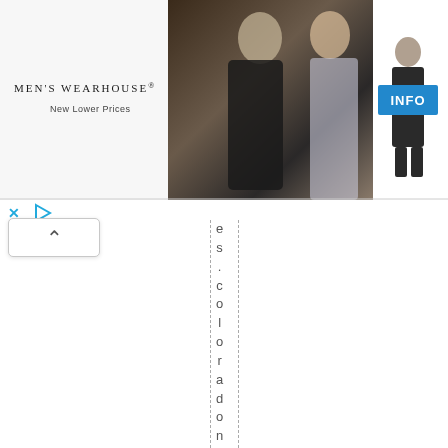[Figure (screenshot): Men's Wearhouse advertisement banner showing a couple dressed formally and a man in a suit, with an INFO button]
es.coloradonature.co
[Figure (screenshot): Web browser UI with scroll-up arrow button and dashed column guide lines visible on the page]